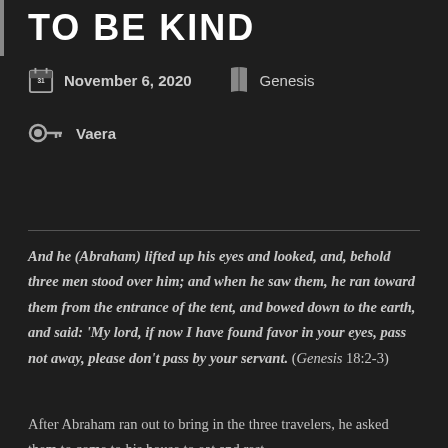TO BE KIND
November 6, 2020   Genesis
Vaera
And he (Abraham) lifted up his eyes and looked, and, behold three men stood over him; and when he saw them, he ran toward them from the entrance of the tent, and bowed down to the earth, and said: ‘My lord, if now I have found favor in your eyes, pass not away, please don’t pass by your servant. (Genesis 18:2-3)
After Abraham ran out to bring in the three travelers, he asked them to come to his house to eat and rest.